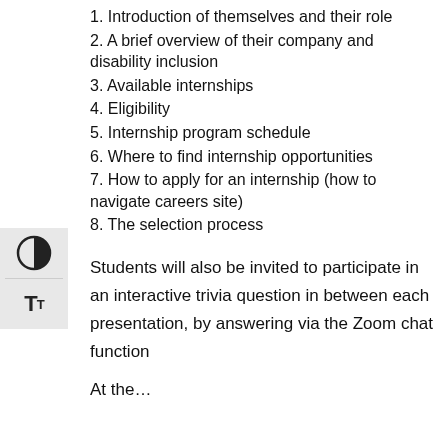1. Introduction of themselves and their role
2. A brief overview of their company and disability inclusion
3. Available internships
4. Eligibility
5. Internship program schedule
6. Where to find internship opportunities
7. How to apply for an internship (how to navigate careers site)
8. The selection process
Students will also be invited to participate in an interactive trivia question in between each presentation, by answering via the Zoom chat function
At the...